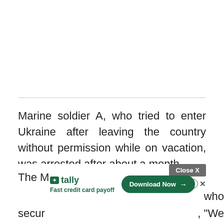Marine soldier A, who tried to enter Ukraine after leaving the country without permission while on vacation, was arrested after about a month.
The M[arine Corps said in a statement], "We secur[ed the soldier,]" who
[Figure (screenshot): Advertisement overlay: Tally app ad with 'Fast credit card payoff' tagline and 'Download Now' button, with a 'Close X' button and help/close icons.]